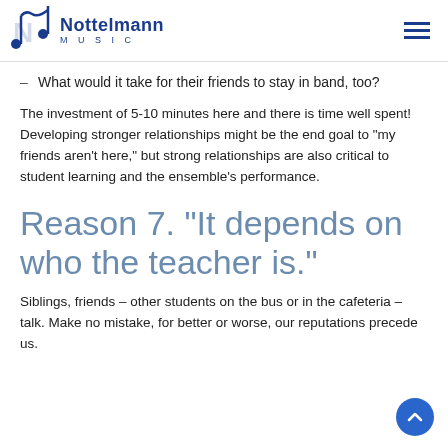Nottelmann Music
What would it take for their friends to stay in band, too?
The investment of 5-10 minutes here and there is time well spent! Developing stronger relationships might be the end goal to “my friends aren’t here,” but strong relationships are also critical to student learning and the ensemble’s performance.
Reason 7. “It depends on who the teacher is.”
Siblings, friends – other students on the bus or in the cafeteria – talk. Make no mistake, for better or worse, our reputations precede us.